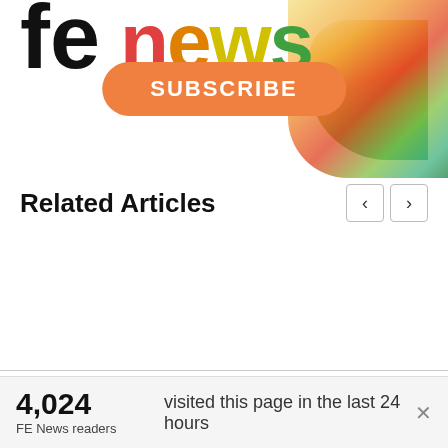[Figure (logo): FE News logo with colorful letters and subscribe button with swirl decoration]
Related Articles
We use cookies on our website to give you the most relevant experience by remembering your preferences and repeat visits. By clicking “Accept”, you consent to the use of ALL the cookies. However you may visit Cookie
4,024
FE News readers
visited this page in the last 24 hours